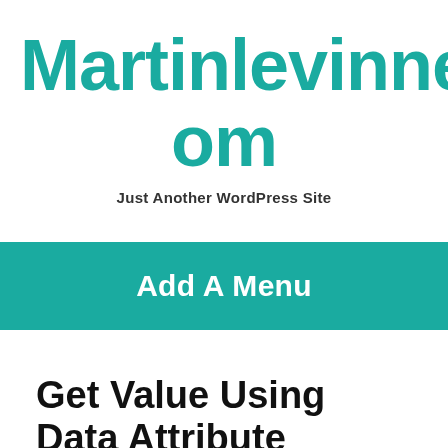Martinlevinne.Com
Just Another WordPress Site
Add A Menu
Get Value Using Data Attribute Jquery